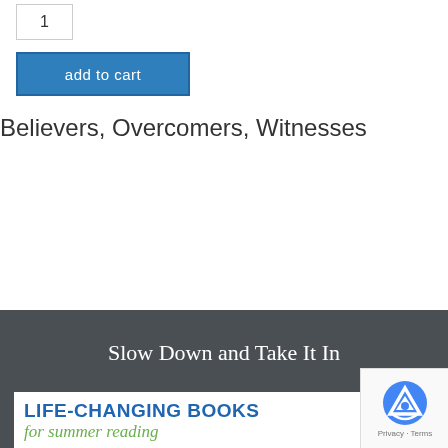1
add to cart
Believers, Overcomers, Witnesses
| CD | $6.00 |
| MP3 | $2.50 |
Slow Down and Take It In
[Figure (screenshot): Life-Changing Books for summer reading banner advertisement]
[Figure (logo): reCAPTCHA logo with Privacy and Terms text]